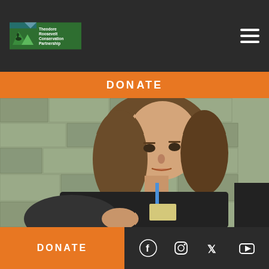Theodore Roosevelt Conservation Partnership
DONATE
[Figure (photo): Woman with long brown hair speaking at an event, wearing a black jacket and lanyard with name tag, in front of a stone wall background]
DONATE
Social media icons: Facebook, Instagram, Twitter, YouTube